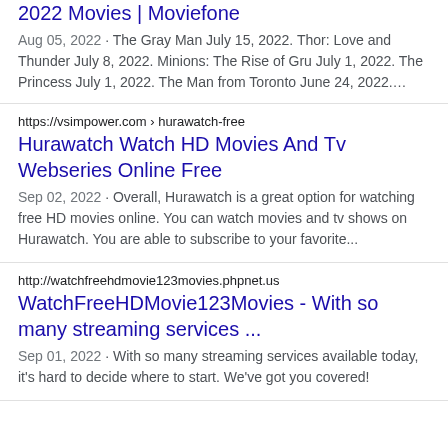2022 Movies | Moviefone
Aug 05, 2022 · The Gray Man July 15, 2022. Thor: Love and Thunder July 8, 2022. Minions: The Rise of Gru July 1, 2022. The Princess July 1, 2022. The Man from Toronto June 24, 2022….
https://vsimpower.com › hurawatch-free
Hurawatch Watch HD Movies And Tv Webseries Online Free
Sep 02, 2022 · Overall, Hurawatch is a great option for watching free HD movies online. You can watch movies and tv shows on Hurawatch. You are able to subscribe to your favorite...
http://watchfreehdmovie123movies.phpnet.us
WatchFreeHDMovie123Movies - With so many streaming services ...
Sep 01, 2022 · With so many streaming services available today, it's hard to decide where to start. We've got you covered!